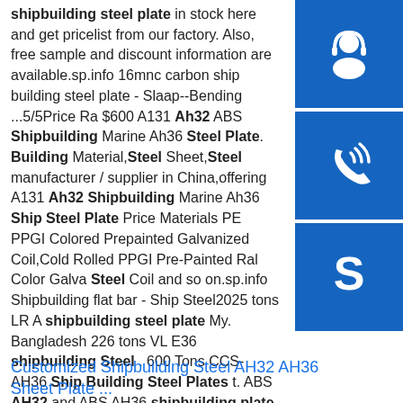shipbuilding steel plate in stock here and get pricelist from our factory. Also, free sample and discount information are available.sp.info 16mnc carbon ship building steel plate - Slaap--Bending ...5/5Price Ra $600 A131 Ah32 ABS Shipbuilding Marine Ah36 Steel Plate. Building Material,Steel Sheet,Steel manufacturer / supplier in China,offering A131 Ah32 Shipbuilding Marine Ah36 Ship Steel Plate Price Materials PE PPGI Colored Prepainted Galvanized Coil,Cold Rolled PPGI Pre-Painted Ral Color Galva Steel Coil and so on.sp.info Shipbuilding flat bar - Ship Steel2025 tons LR A shipbuilding steel plate My. Bangladesh 226 tons VL E36 shipbuilding Steel . 600 Tons CCS-AH36 Ship Building Steel Plates t. ABS AH32 and ABS AH36 shipbuilding plate to Vi. See More+. BBN SHIP STEEL FACTORY 20 years experience. E-mail: [email protected] Tel: …
[Figure (illustration): Three blue square icon buttons stacked vertically on the right side: top shows a customer service headset person icon, middle shows a phone/call icon, bottom shows a Skype logo icon]
Customized Shipbuilding Steel AH32 AH36 Sheet Plate ...